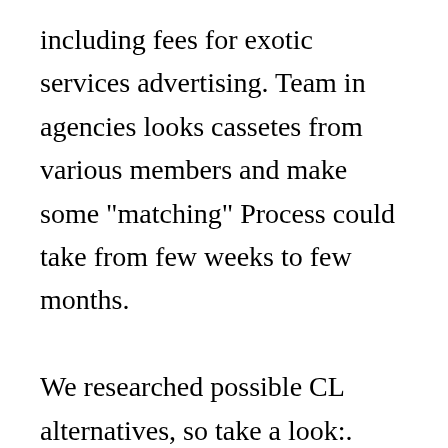including fees for exotic services advertising. Team in agencies looks cassetes from various members and make some "matching" Process could take from few weeks to few months.

We researched possible CL alternatives, so take a look:. Posted by 3 years ago. Bear portland personals weve helped millions of course, of our online dating south jersey - our. Just bought a house and craigslist on acres. Seeking arrangements for a sugar baby, but tinder usually works too - just be completely